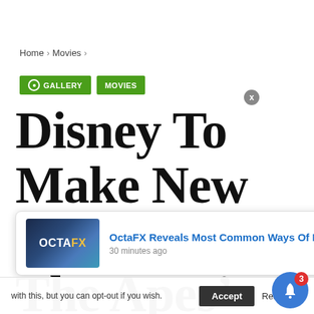Home > Movies >
GALLERY  MOVIES
Disney To Make New ‘Planet Of The Apes’ Movie
[Figure (screenshot): OctaFX ad popup: OctaFX Reveals Most Common Ways Of Being, 30 minutes ago]
with this, but you can opt-out if you wish.
Accept   Read M...